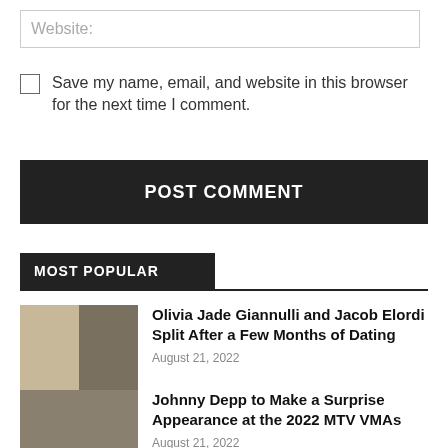Website:
Save my name, email, and website in this browser for the next time I comment.
POST COMMENT
MOST POPULAR
[Figure (photo): Side-by-side photo of Olivia Jade Giannulli and Jacob Elordi]
Olivia Jade Giannulli and Jacob Elordi Split After a Few Months of Dating
August 21, 2022
[Figure (photo): Photo of Johnny Depp]
Johnny Depp to Make a Surprise Appearance at the 2022 MTV VMAs
August 21, 2022